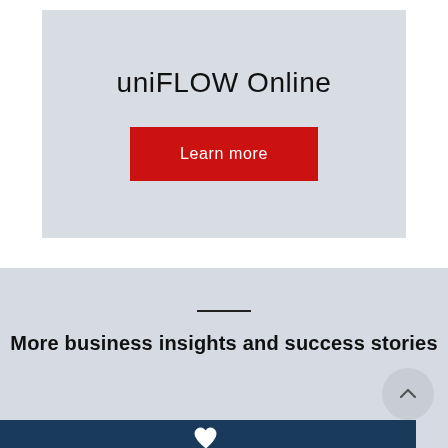uniFLOW Online
Learn more
More business insights and success stories
[Figure (other): Dark blue image strip at bottom of page with a heart icon overlay]